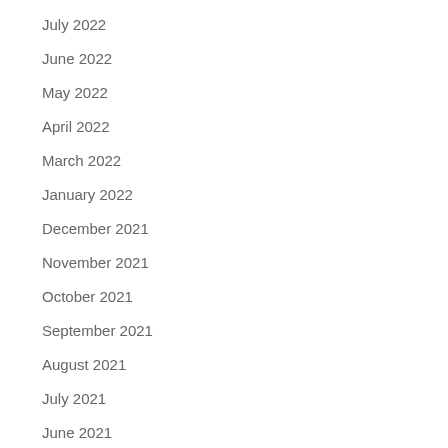July 2022
June 2022
May 2022
April 2022
March 2022
January 2022
December 2021
November 2021
October 2021
September 2021
August 2021
July 2021
June 2021